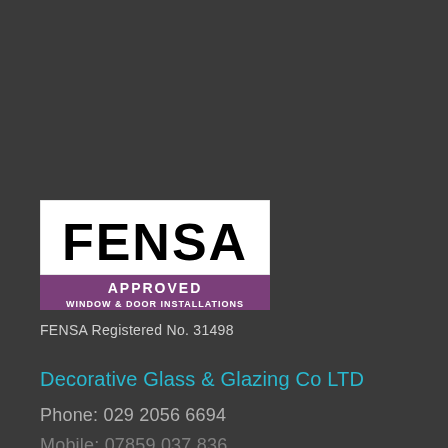[Figure (logo): FENSA logo: white rectangle with bold black text 'FENSA', below a purple banner with white text 'APPROVED' and 'WINDOW & DOOR INSTALLATIONS']
FENSA Registered No. 31498
Decorative Glass & Glazing Co LTD
Phone: 029 2056 6694
Mobile: 07859 037 836